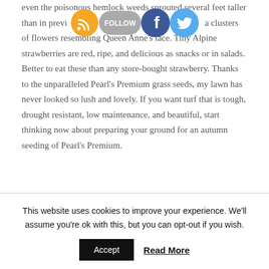even the poisonous hemlock weeds sprouted several feet taller than in previous years, attracting clusters of flowers resembling Queen Anne's lace. Tiny Alpine strawberries are red, ripe, and delicious as snacks or in salads. Better to eat these than any store-bought strawberry. Thanks to the unparalleled Pearl's Premium grass seeds, my lawn has never looked so lush and lovely. If you want turf that is tough, drought resistant, low maintenance, and beautiful, start thinking now about preparing your ground for an autumn seeding of Pearl's Premium.
[Figure (infographic): Social media sharing icons: RSS feed (orange), Follow button (gray), Facebook (blue), Twitter (light blue)]
This website uses cookies to improve your experience. We'll assume you're ok with this, but you can opt-out if you wish.